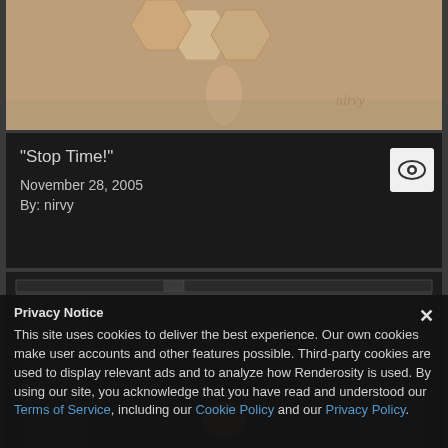[Figure (photo): Top portion of an artistic photo showing decorative wooden objects and a person's foot/leg on a patterned floor]
"Stop Time!"
November 28, 2005
By: nirvy
[Figure (photo): Dark artistic photograph showing a room from above with curtains and a person's head visible]
Privacy Notice
This site uses cookies to deliver the best experience. Our own cookies make user accounts and other features possible. Third-party cookies are used to display relevant ads and to analyze how Renderosity is used. By using our site, you acknowledge that you have read and understood our Terms of Service, including our Cookie Policy and our Privacy Policy.